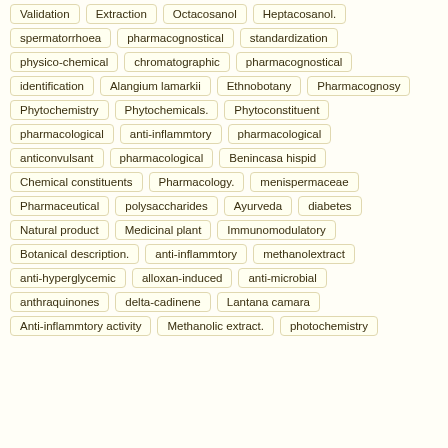Validation
Extraction
Octacosanol
Heptacosanol.
spermatorrhoea
pharmacognostical
standardization
physico-chemical
chromatographic
pharmacognostical
identification
Alangium lamarkii
Ethnobotany
Pharmacognosy
Phytochemistry
Phytochemicals.
Phytoconstituent
pharmacological
anti-inflammtory
pharmacological
anticonvulsant
pharmacological
Benincasa hispid
Chemical constituents
Pharmacology.
menispermaceae
Pharmaceutical
polysaccharides
Ayurveda
diabetes
Natural product
Medicinal plant
Immunomodulatory
Botanical description.
anti-inflammtory
methanolextract
anti-hyperglycemic
alloxan-induced
anti-microbial
anthraquinones
delta-cadinene
Lantana camara
Anti-inflammtory activity
Methanolic extract.
photochemistry